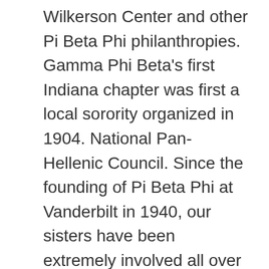Wilkerson Center and other Pi Beta Phi philanthropies. Gamma Phi Beta's first Indiana chapter was first a local sorority organized in 1904. National Pan-Hellenic Council. Since the founding of Pi Beta Phi at Vanderbilt in 1940, our sisters have been extremely involved all over campus. Welcome to your custom apparel page from B-Unlimited! Built on a past filled with rich tradition and history at Vanderbilt University, Tennessee Beta remains an outstanding Pi Beta Phi chapter today. Share. Association of Academic Physiatrists. We tailor your treatment plan to meet your unique needs and health goals. Nashville Area Informational Website Pi Beta Phi attracts women who possess a desire